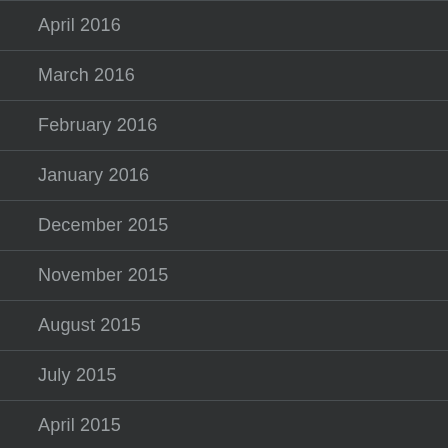April 2016
March 2016
February 2016
January 2016
December 2015
November 2015
August 2015
July 2015
April 2015
February 2015
January 2015